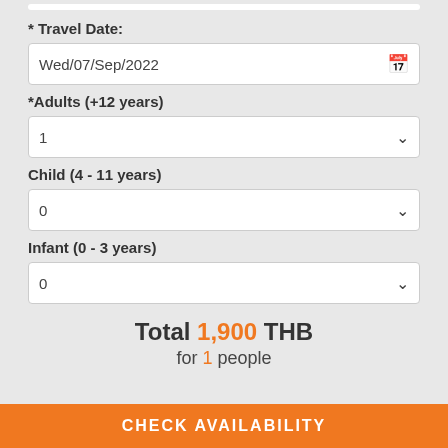* Travel Date:
Wed/07/Sep/2022
*Adults (+12 years)
1
Child (4 - 11 years)
0
Infant (0 - 3 years)
0
Total 1,900 THB for 1 people
CHECK AVAILABILITY